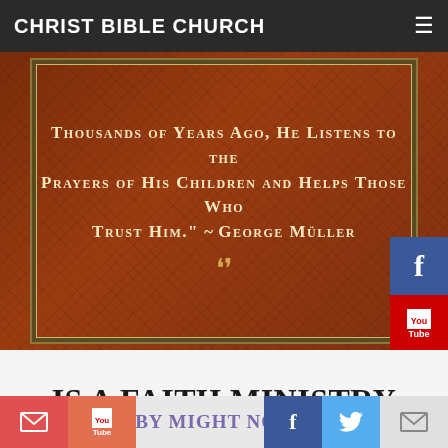CHRIST BIBLE CHURCH
[Figure (illustration): Decorative quote image on dark red/brown background with cross-hatch pattern and ornamental border. Quote text: 'THOUSANDS OF YEARS AGO, HE LISTENS TO THE PRAYERS OF HIS CHILDREN AND HELPS THOSE WHO TRUST HIM.' ~ George Müller. Decorative scroll ornament below. Facebook and YouTube social buttons overlay on the right side.]
IS A FAITH MINISTRY BIBLICAL?
NOT BY MIGHT NOR BY [POWER BUT BY MY SPIRIT...]